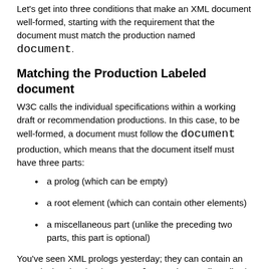Let's get into three conditions that make an XML document well-formed, starting with the requirement that the document must match the production named document.
Matching the Production Labeled document
W3C calls the individual specifications within a working draft or recommendation productions. In this case, to be well-formed, a document must follow the document production, which means that the document itself must have three parts:
a prolog (which can be empty)
a root element (which can contain other elements)
a miscellaneous part (unlike the preceding two parts, this part is optional)
You've seen XML prologs yesterday; they can contain an XML declaration (such as <?xml version = "1.0"?>), as well as comments, processing instructions, and doctype declarations (that is, DTDs).
You've also seen root elements; the root element is the XML